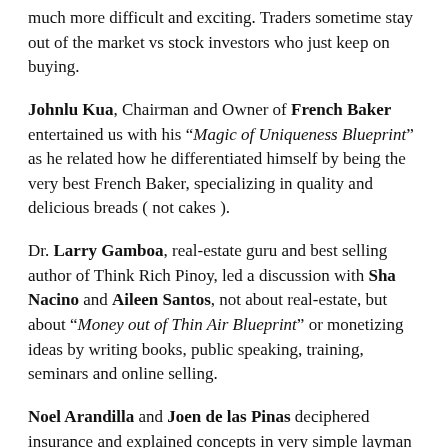much more difficult and exciting. Traders sometime stay out of the market vs stock investors who just keep on buying.
Johnlu Kua, Chairman and Owner of French Baker entertained us with his “Magic of Uniqueness Blueprint” as he related how he differentiated himself by being the very best French Baker, specializing in quality and delicious breads ( not cakes ).
Dr. Larry Gamboa, real-estate guru and best selling author of Think Rich Pinoy, led a discussion with Sha Nacino and Aileen Santos, not about real-estate, but about “Money out of Thin Air Blueprint” or monetizing ideas by writing books, public speaking, training, seminars and online selling.
Noel Arandilla and Joen de las Pinas deciphered insurance and explained concepts in very simple layman terms, then taught us to solve one of life’s greatest mysteries: how much insurance should one get? They proceed to advise us that the